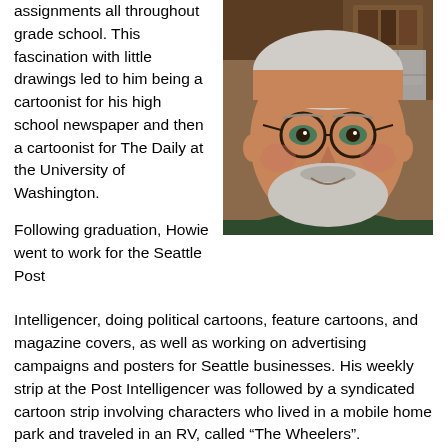assignments all throughout grade school. This fascination with little drawings led to him being a cartoonist for his high school newspaper and then a cartoonist for The Daily at the University of Washington.
[Figure (photo): Close-up photo of an older man with gray hair and beard, wearing glasses and a dark green shirt, smiling at the camera.]
Following graduation, Howie went to work for the Seattle Post Intelligencer, doing political cartoons, feature cartoons, and magazine covers, as well as working on advertising campaigns and posters for Seattle businesses. His weekly strip at the Post Intelligencer was followed by a syndicated cartoon strip involving characters who lived in a mobile home park and traveled in an RV, called “The Wheelers”.
In his spare time, Howie was both a principal of a number of schools as well as a superintendent of two school districts. Throughout his careers in cartooning and education Howie remained active in the music field and played in a number of